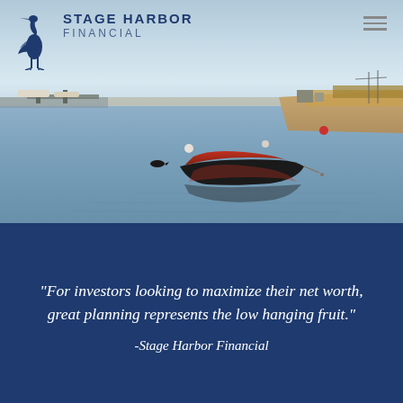[Figure (photo): A harbor scene at dusk with a red and black wooden rowboat moored in calm reflective water, sandy shoreline with golden marsh grass in background, and boats in the distance. Stage Harbor Financial logo with blue heron silhouette and company name overlaid in upper left. Hamburger menu icon in upper right.]
“For investors looking to maximize their net worth, great planning represents the low hanging fruit.”
-Stage Harbor Financial